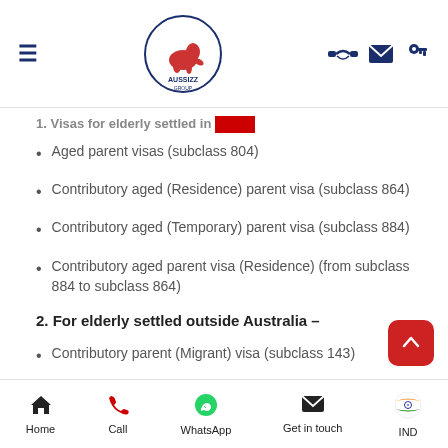AUSSIZZ GROUP navigation bar with hamburger menu, logo, and icons
1. Visas for elderly settled in Australia –
Aged parent visas (subclass 804)
Contributory aged (Residence) parent visa (subclass 864)
Contributory aged (Temporary) parent visa (subclass 884)
Contributory aged parent visa (Residence) (from subclass 884 to subclass 864)
2. For elderly settled outside Australia –
Contributory parent (Migrant) visa (subclass 143)
Contributory parent (Temporary) visa (subclass 173)
Contributory parent (Migrant) visa (from subclass 173 to
Home | Call | WhatsApp | Get in touch | IND